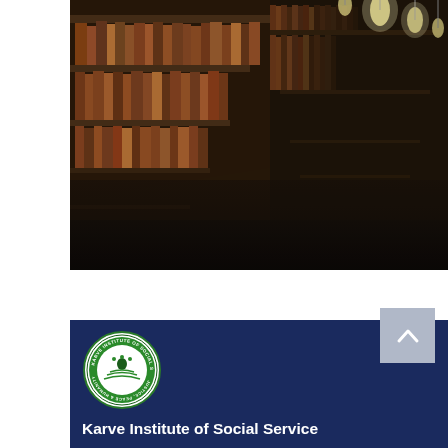[Figure (photo): A library corridor with tall bookshelves filled with books on both sides, receding into the distance with warm hanging bulb lights overhead. Dark atmospheric lighting with wooden shelves.]
[Figure (logo): Karve Institute of Social Service circular logo. Green and white circular badge with figures and text reading KARVE INSTITUTE OF SOCIAL SERVICE and JUSTICE, PEACE & HUMANITY around the border.]
Karve Institute of Social Service